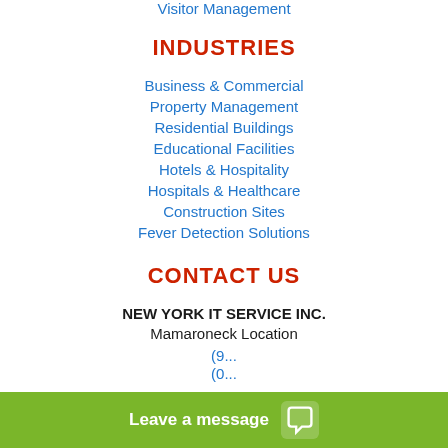Visitor Management
INDUSTRIES
Business & Commercial
Property Management
Residential Buildings
Educational Facilities
Hotels & Hospitality
Hospitals & Healthcare
Construction Sites
Fever Detection Solutions
CONTACT US
NEW YORK IT SERVICE INC.
Mamaroneck Location
(9...
(0...
Leave a message